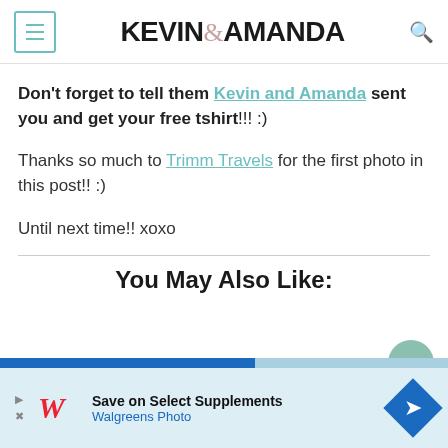KEVIN & AMANDA
Don't forget to tell them Kevin and Amanda sent you and get your free tshirt!!! :)
Thanks so much to Trimm Travels for the first photo in this post!! :)
Until next time!! xoxo
You May Also Like:
[Figure (screenshot): Walgreens advertisement banner: Save on Select Supplements, Walgreens Photo]